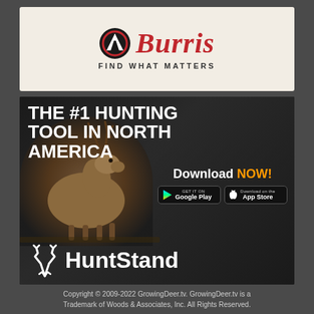[Figure (logo): Burris Optics logo with mountain/peak icon and red script 'Burris' text, tagline 'FIND WHAT MATTERS' below]
[Figure (illustration): HuntStand advertisement on dark background featuring a whitetail deer photo, bold white text 'THE #1 HUNTING TOOL IN NORTH AMERICA', 'Download NOW!' with orange NOW, Google Play and App Store buttons, and HuntStand logo with antler icon at bottom]
Copyright © 2009-2022 GrowingDeer.tv.  GrowingDeer.tv is a Trademark of Woods & Associates, Inc.  All Rights Reserved.